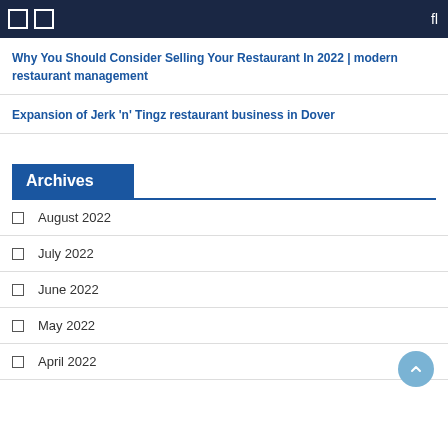Navigation bar with icons
Why You Should Consider Selling Your Restaurant In 2022 | modern restaurant management
Expansion of Jerk 'n' Tingz restaurant business in Dover
Archives
August 2022
July 2022
June 2022
May 2022
April 2022